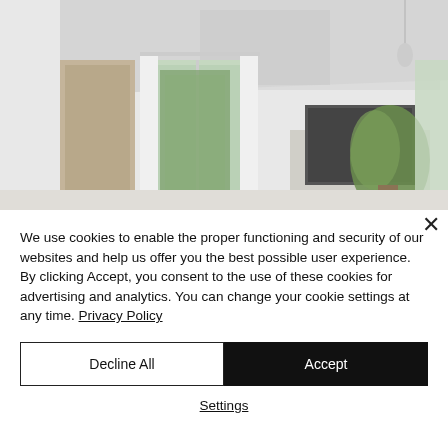[Figure (photo): Interior of a bright white Parisian apartment living room with tall French windows, white curtains, a wall-mounted TV, and a large potted plant. Natural light streams in from outside showing trees.]
We use cookies to enable the proper functioning and security of our websites and help us offer you the best possible user experience. By clicking Accept, you consent to the use of these cookies for advertising and analytics. You can change your cookie settings at any time. Privacy Policy
Decline All
Accept
Settings